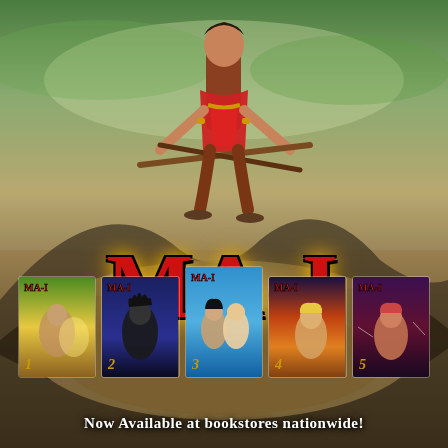[Figure (illustration): Manga-style promotional poster for MA-I graphic novel series. Background shows a misty landscape with sandy dunes, green sky, and dark shadowy mountains. A warrior figure in red outfit stands at top center holding two wooden staffs/swords crossed. Large red bold stylized title 'MA-I' in center. Bottom row shows five manga book covers numbered 1-5, each featuring different anime-style characters. Bottom text reads 'Now Available at bookstores nationwide!']